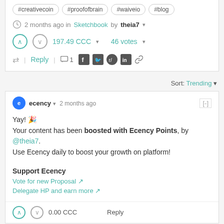#creativecoin #proofofbrain #waiveio #blog
2 months ago in Sketchbook by theia7
197.49 CCC  46 votes
Reply  1
Sort: Trending
ecency  2 months ago
Yay! 🎉
Your content has been boosted with Ecency Points, by @theia7.
Use Ecency daily to boost your growth on platform!
Support Ecency
Vote for new Proposal ↗
Delegate HP and earn more ↗
0.00 CCC   Reply